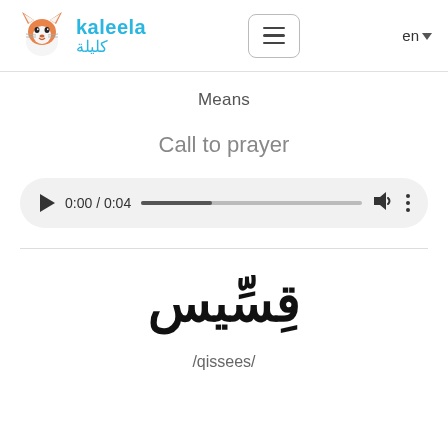[Figure (logo): Kaleela fox logo with Arabic and English text, hamburger menu button, and language selector 'en']
Means
Call to prayer
[Figure (screenshot): Audio player showing 0:00 / 0:04 with play button, progress bar, volume icon, and more options icon]
قِسِّيس
/qissees/